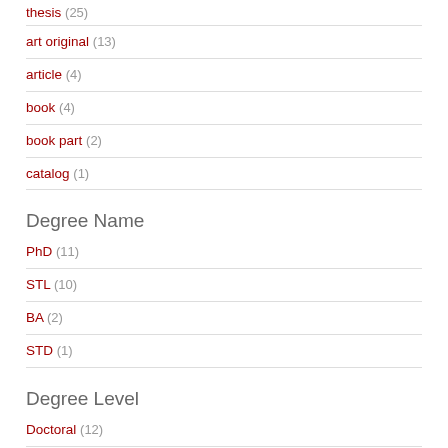thesis (25)
art original (13)
article (4)
book (4)
book part (2)
catalog (1)
Degree Name
PhD (11)
STL (10)
BA (2)
STD (1)
Degree Level
Doctoral (12)
Licentiate (10)
Bachelors (3)
Language